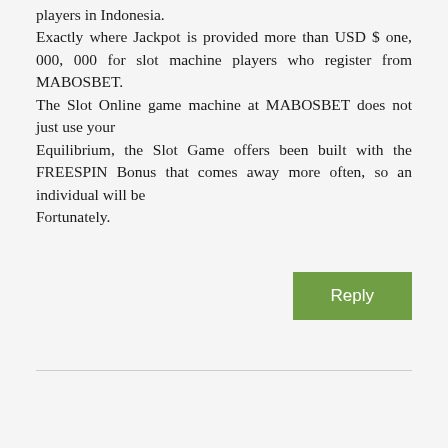players in Indonesia. Exactly where Jackpot is provided more than USD $ one, 000, 000 for slot machine players who register from MABOSBET. The Slot Online game machine at MABOSBET does not just use your Equilibrium, the Slot Game offers been built with the FREESPIN Bonus that comes away more often, so an individual will be Fortunately.
Reply